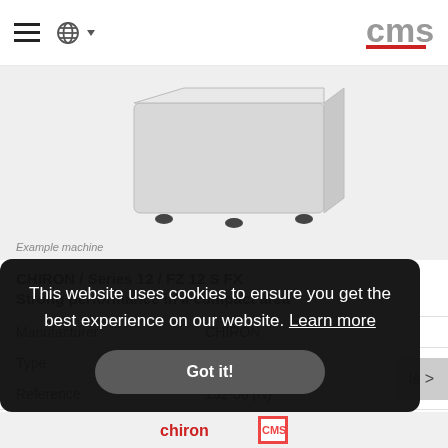[Figure (photo): CMS website navigation bar with hamburger menu, globe/language selector, and CMS logo in red/grey]
[Figure (photo): Example machine photo - CHIRON FZ 12 S FX milling machine, light grey box-shaped CNC machine on dark feet, on light grey background]
Example machine
CHIRON / Series 12 / FZ 12 S FX
Strong performance in a compact area
| Manufacturer | CHIRON |
| Type | FZ 12 S FX |
| Reference | 152-56 (N) |
| Travel X - Y - Z | 550 x 400 x 425 mm |
| Control | Siemens 840D |
| Number of tools | 30 |
This website uses cookies to ensure you get the best experience on our website. Learn more
Got it!